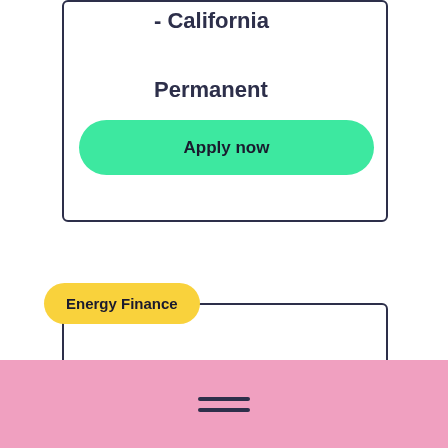- California
Permanent
Apply now
Energy Finance
Staff Accountant